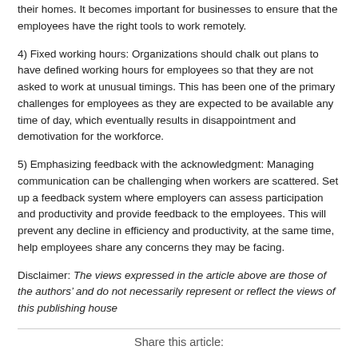their homes. It becomes important for businesses to ensure that the employees have the right tools to work remotely.
4) Fixed working hours: Organizations should chalk out plans to have defined working hours for employees so that they are not asked to work at unusual timings. This has been one of the primary challenges for employees as they are expected to be available any time of day, which eventually results in disappointment and demotivation for the workforce.
5) Emphasizing feedback with the acknowledgment: Managing communication can be challenging when workers are scattered. Set up a feedback system where employers can assess participation and productivity and provide feedback to the employees. This will prevent any decline in efficiency and productivity, at the same time, help employees share any concerns they may be facing.
Disclaimer: The views expressed in the article above are those of the authors’ and do not necessarily represent or reflect the views of this publishing house
Share this article: